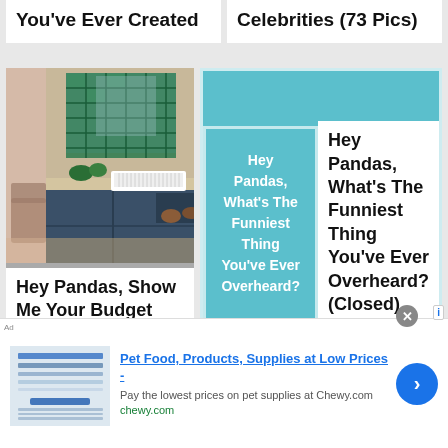You've Ever Created
Celebrities (73 Pics)
[Figure (photo): Kitchen interior with dark blue cabinets, green subway tiles, white farmhouse sink, wooden chairs, and potted plants by window]
[Figure (illustration): Teal/cyan card with white text overlay reading Hey Pandas, What's The Funniest Thing You've Ever Overheard?]
Hey Pandas, Show Me Your Budget DIY Kitchen Designs (Closed)
Hey Pandas, What's The Funniest Thing You've Ever Overheard? (Closed)
[Figure (illustration): Green background with panda face (ears/top of head) visible — Bored Panda website mascot section]
Pet Food, Products, Supplies at Low Prices - Pay the lowest prices on pet supplies at Chewy.com chewy.com